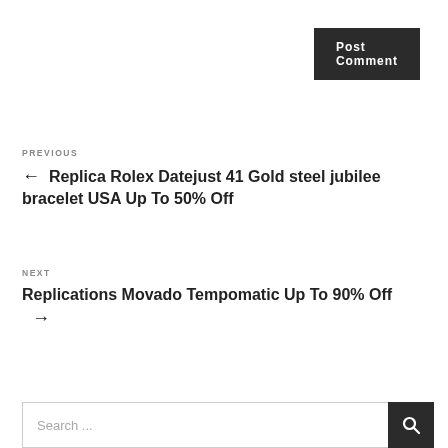Post Comment
PREVIOUS
← Replica Rolex Datejust 41 Gold steel jubilee bracelet USA Up To 50% Off
NEXT
Replications Movado Tempomatic Up To 90% Off →
Search ...